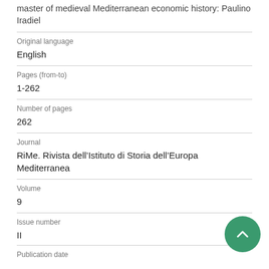master of medieval Mediterranean economic history: Paulino Iradiel
| Original language | English |
| Pages (from-to) | 1-262 |
| Number of pages | 262 |
| Journal | RiMe. Rivista dell’Istituto di Storia dell’Europa Mediterranea |
| Volume | 9 |
| Issue number | II |
| Publication date |  |